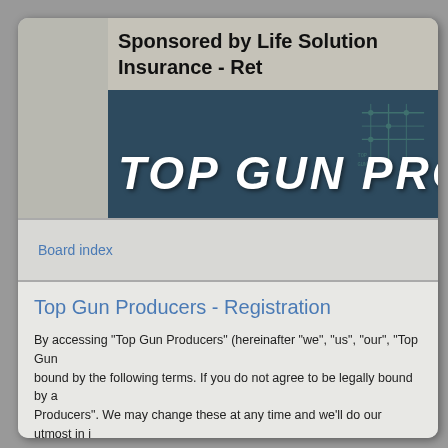Sponsored by Life Solutions Insurance - Ret
[Figure (screenshot): Top Gun Producers banner with dark blue background and large white bold italic stencil text reading TOP GUN PRO (cut off), with digital graphic overlay]
Board index
Top Gun Producers - Registration
By accessing “Top Gun Producers” (hereinafter “we”, “us”, “our”, “Top Gun bound by the following terms. If you do not agree to be legally bound by a Producers”. We may change these at any time and we’ll do our utmost in i continued usage of “Top Gun Producers” after changes mean you agree t
Our forums are powered by phpBB (hereinafter “they”, “them”, “their”, “php bulletin board solution released under the “General Public License” (h